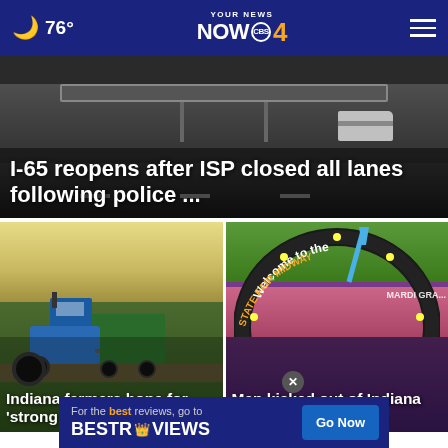76° — YOUR NEWS NOW CBS 4
[Figure (screenshot): Hero image: highway/road scene with overhead sign, dark sky, vehicles; text overlay reading 'I-65 reopens after ISP closed all lanes following police ...']
I-65 reopens after ISP closed all lanes following police ...
[Figure (screenshot): Left card: tractor with green trailer in a farm field at dusk; text overlay reading 'Indiana farmers hope for ‘strong safety net’ in ne...']
Indiana farmers hope for ‘strong safety net’ in ne...
[Figure (screenshot): Right card: State Fair midway entrance arch sign reading 'Welcome to the State Fair Midway'; text overlay reading 'Man kicked out of Indiana State Fair for h...ing']
Man kicked out of Indiana State Fair for h...ing
For the best reviews, go to BESTREVIEWS
Go Now